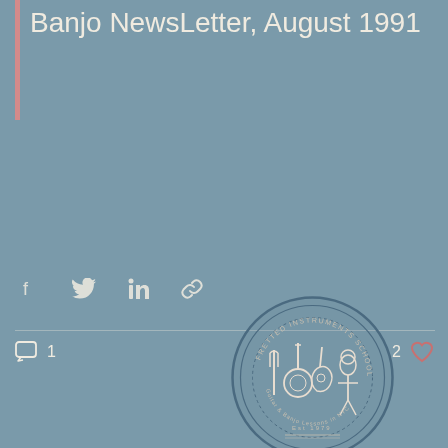Banjo NewsLetter, August 1991
[Figure (other): Social share icons: Facebook, Twitter, LinkedIn, and link/copy icon]
[Figure (logo): Fretted Instruments School circular logo with banjo, guitar, and folk instruments illustration, subtitle: Guitar & Banjo Lessons in NYC, Est 1979]
1 comment, 2 likes
Recent Posts
See All
[Figure (photo): Left thumbnail showing sheet music notation]
[Figure (photo): Center photo of a man smiling and holding a banjo or guitar, black and white vintage photo]
[Figure (photo): Right partial thumbnail with aged paper/sheet music]